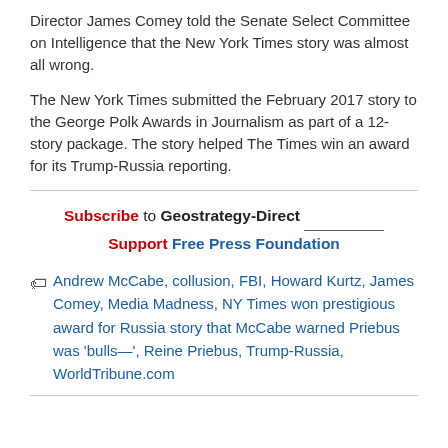Director James Comey told the Senate Select Committee on Intelligence that the New York Times story was almost all wrong.
The New York Times submitted the February 2017 story to the George Polk Awards in Journalism as part of a 12-story package. The story helped The Times win an award for its Trump-Russia reporting.
Subscribe to Geostrategy-Direct  Support Free Press Foundation
Andrew McCabe, collusion, FBI, Howard Kurtz, James Comey, Media Madness, NY Times won prestigious award for Russia story that McCabe warned Priebus was 'bulls—', Reine Priebus, Trump-Russia, WorldTribune.com